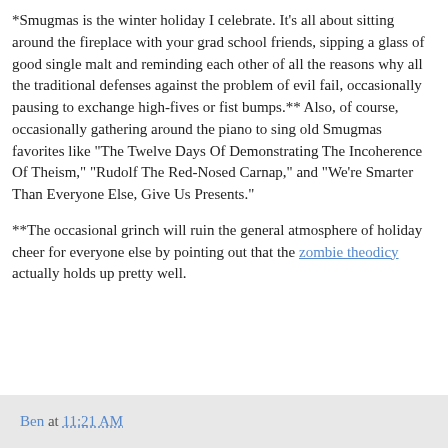*Smugmas is the winter holiday I celebrate. It's all about sitting around the fireplace with your grad school friends, sipping a glass of good single malt and reminding each other of all the reasons why all the traditional defenses against the problem of evil fail, occasionally pausing to exchange high-fives or fist bumps.** Also, of course, occasionally gathering around the piano to sing old Smugmas favorites like "The Twelve Days Of Demonstrating The Incoherence Of Theism," "Rudolf The Red-Nosed Carnap," and "We're Smarter Than Everyone Else, Give Us Presents."
**The occasional grinch will ruin the general atmosphere of holiday cheer for everyone else by pointing out that the zombie theodicy actually holds up pretty well.
Ben at 11:21 AM